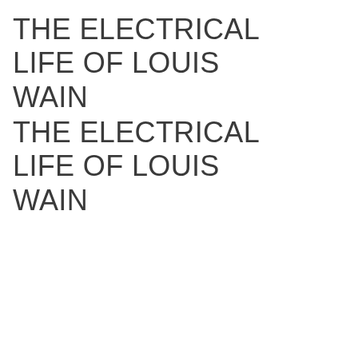THE ELECTRICAL LIFE OF LOUIS WAIN
THE ELECTRICAL LIFE OF LOUIS WAIN